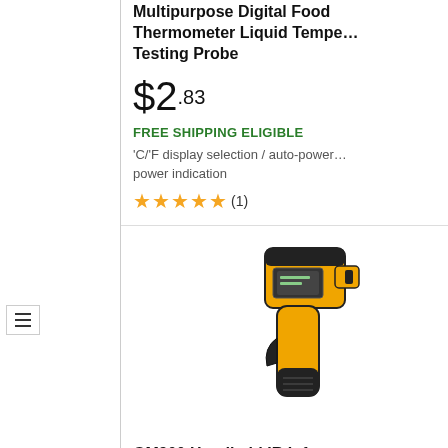Multipurpose Digital Food Thermometer Liquid Temperature Testing Probe
$2.83
FREE SHIPPING ELIGIBLE
'C/'F display selection / auto-power power indication
★★★★★ (1)
[Figure (photo): GM900 Handheld IR Infrared Thermometer - yellow and black gun-shaped infrared thermometer]
GM900 Handheld IR Infrared Thermometer
$62.56
FREE SHIPPING ELIGIBLE